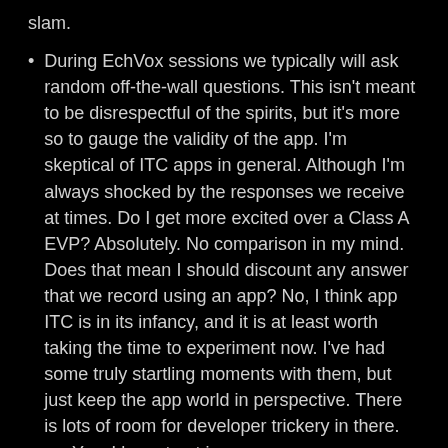slam.
During EchVox sessions we typically will ask random off-the-wall questions. This isn't meant to be disrespectful of the spirits, but it's more so to gauge the validity of the app. I'm skeptical of ITC apps in general. Although I'm always shocked by the responses we receive at times. Do I get more excited over a Class A EVP? Absolutely. No comparison in my mind. Does that mean I should discount any answer that we record using an app? No, I think app ITC is in its infancy, and it is at least worth taking the time to experiment now. I've had some truly startling moments with them, but just keep the app world in perspective. There is lots of room for developer trickery in there. …. Yes, I have trust issues.